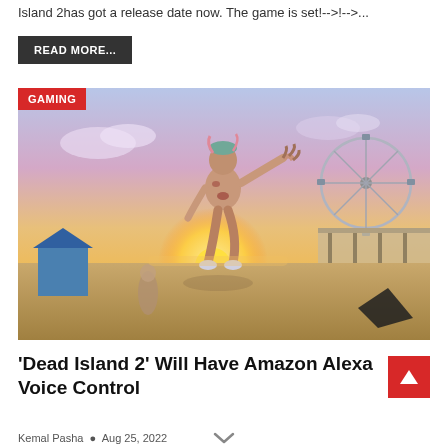Island 2has got a release date now. The game is set!-->!-->...
READ MORE...
[Figure (photo): A zombie running on a beach at sunset with a Ferris wheel and pier in the background, with a GAMING badge overlay in the top-left corner.]
'Dead Island 2' Will Have Amazon Alexa Voice Control
Kemal Pasha   Aug 25, 2022